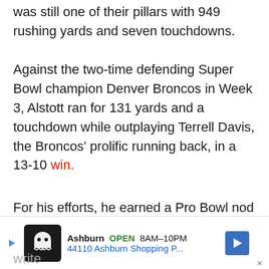was still one of their pillars with 949 rushing yards and seven touchdowns.
Against the two-time defending Super Bowl champion Denver Broncos in Week 3, Alstott ran for 131 yards and a touchdown while outplaying Terrell Davis, the Broncos' prolific running back, in a 13-10 win.
For his efforts, he earned a Pro Bowl nod and received First-Team All-Pro honors for the third straight season.
Altho[obscured by ad] ig to write[obscured by ad]
[Figure (screenshot): Ad banner: Ashburn OPEN 8AM–10PM, 44110 Ashburn Shopping P... with navigation arrow icon and small restaurant/food logo]